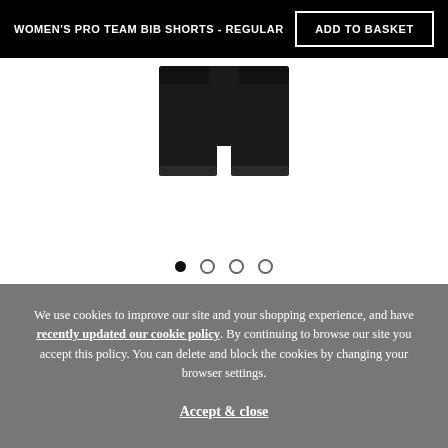WOMEN'S PRO TEAM BIB SHORTS - REGULAR
ADD TO BASKET
[Figure (photo): Black women's pro team bib shorts product image, front view showing waistband and leg area]
We use cookies to improve our site and your shopping experience, and have recently updated our cookie policy. By continuing to browse our site you accept this policy. You can delete and block the cookies by changing your browser settings.
Accept & close